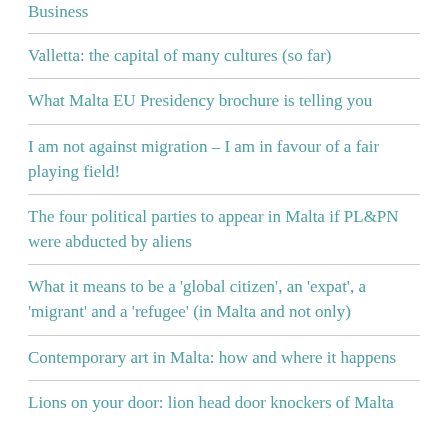Business
Valletta: the capital of many cultures (so far)
What Malta EU Presidency brochure is telling you
I am not against migration – I am in favour of a fair playing field!
The four political parties to appear in Malta if PL&PN were abducted by aliens
What it means to be a 'global citizen', an 'expat', a 'migrant' and a 'refugee' (in Malta and not only)
Contemporary art in Malta: how and where it happens
Lions on your door: lion head door knockers of Malta